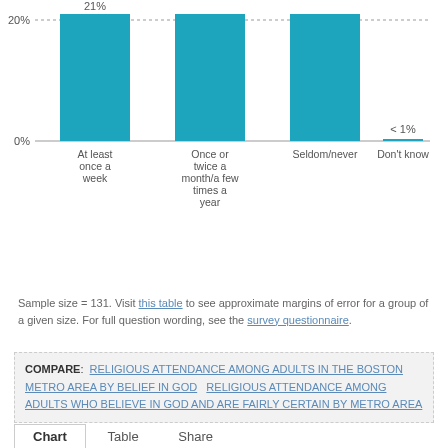[Figure (bar-chart): Religious attendance (partial view)]
Sample size = 131. Visit this table to see approximate margins of error for a group of a given size. For full question wording, see the survey questionnaire.
COMPARE: RELIGIOUS ATTENDANCE AMONG ADULTS IN THE BOSTON METRO AREA BY BELIEF IN GOD   RELIGIOUS ATTENDANCE AMONG ADULTS WHO BELIEVE IN GOD AND ARE FAIRLY CERTAIN BY METRO AREA
Chart   Table   Share
Frequency of prayer among adults in the Boston metro area who say they believe in God; fairly